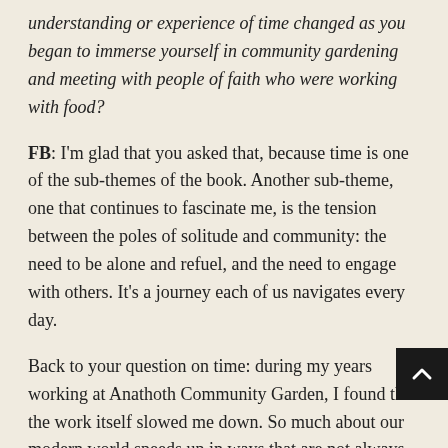understanding or experience of time changed as you began to immerse yourself in community gardening and meeting with people of faith who were working with food?
FB: I'm glad that you asked that, because time is one of the sub-themes of the book. Another sub-theme, one that continues to fascinate me, is the tension between the poles of solitude and community: the need to be alone and refuel, and the need to engage with others. It's a journey each of us navigates every day.
Back to your question on time: during my years working at Anathoth Community Garden, I found that the work itself slowed me down. So much about our modern world speeds up in ways that are not always healthy—like getting jacked on caffeine, my drug of choice—so we need to actively seek ways to slow ourselves down. Working in a garden does that. So does good liturgy. I found my time at the Jewish Farm (Adamah Farm, chapter 7) was also an exercise in slowing